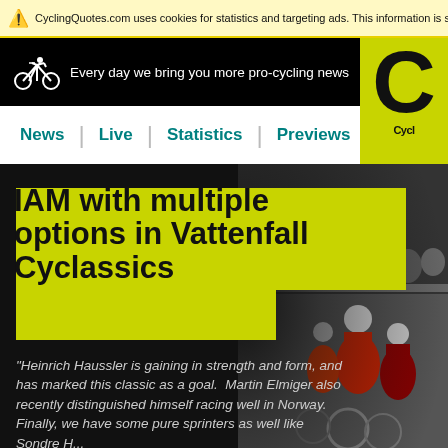CyclingQuotes.com uses cookies for statistics and targeting ads. This information is shared with
[Figure (screenshot): CyclingQuotes.com website header with black bar, cyclist logo, and tagline 'Every day we bring you more pro-cycling news', plus yellow logo box with large C and 'Cycl' text]
News | Live | Statistics | Previews
IAM with multiple options in Vattenfall Cyclassics
"Heinrich Haussler is gaining in strength and form, and has marked this classic as a goal.  Martin Elmiger also recently distinguished himself racing well in Norway. Finally, we have some pure sprinters as well like Sondre H...
[Figure (photo): Cyclists racing, wearing helmets and jerseys, crowded together, partially visible on right side of page]